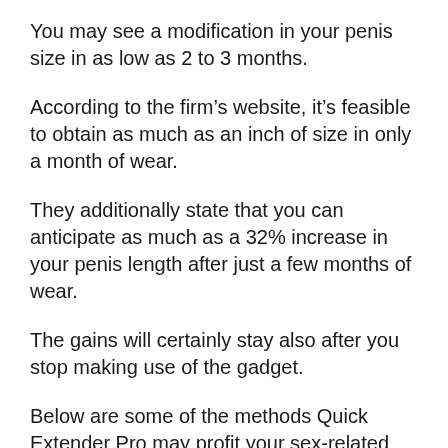You may see a modification in your penis size in as low as 2 to 3 months.
According to the firm’s website, it’s feasible to obtain as much as an inch of size in only a month of wear.
They additionally state that you can anticipate as much as a 32% increase in your penis length after just a few months of wear.
The gains will certainly stay also after you stop making use of the gadget.
Below are some of the methods Quick Extender Pro may profit your sex-related health and wellness.